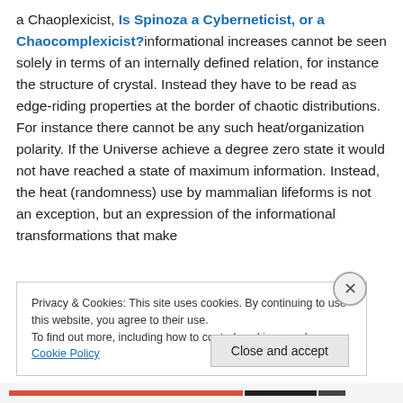a Chaoplexicist, Is Spinoza a Cyberneticist, or a Chaocomplexicist? informational increases cannot be seen solely in terms of an internally defined relation, for instance the structure of crystal. Instead they have to be read as edge-riding properties at the border of chaotic distributions. For instance there cannot be any such heat/organization polarity. If the Universe achieve a degree zero state it would not have reached a state of maximum information. Instead, the heat (randomness) use by mammalian lifeforms is not an exception, but an expression of the informational transformations that make
Privacy & Cookies: This site uses cookies. By continuing to use this website, you agree to their use. To find out more, including how to control cookies, see here: Cookie Policy
Close and accept